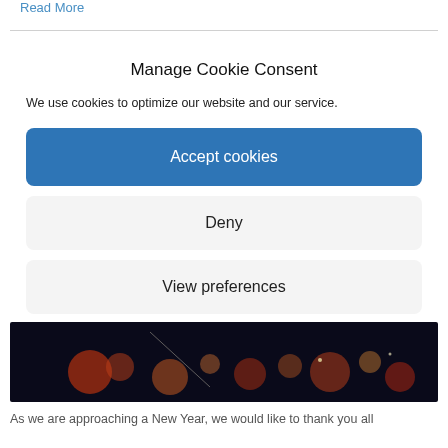Read More
Manage Cookie Consent
We use cookies to optimize our website and our service.
Accept cookies
Deny
View preferences
[Figure (photo): Dark bokeh background photo with colorful light orbs on dark night background]
As we are approaching a New Year, we would like to thank you all